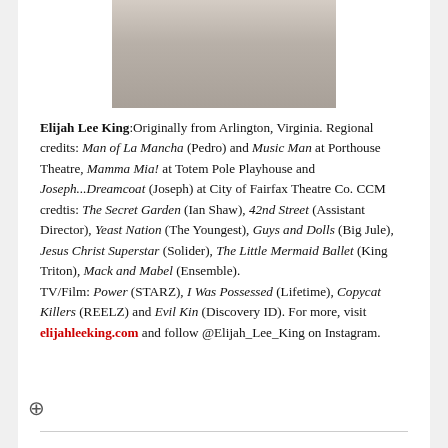[Figure (photo): Partial torso photo of a person wearing a light grey t-shirt, cropped, shown from neck/chest area]
Elijah Lee King: Originally from Arlington, Virginia. Regional credits: Man of La Mancha (Pedro) and Music Man at Porthouse Theatre, Mamma Mia! at Totem Pole Playhouse and Joseph...Dreamcoat (Joseph) at City of Fairfax Theatre Co. CCM credtis: The Secret Garden (Ian Shaw), 42nd Street (Assistant Director), Yeast Nation (The Youngest), Guys and Dolls (Big Jule), Jesus Christ Superstar (Solider), The Little Mermaid Ballet (King Triton), Mack and Mabel (Ensemble). TV/Film: Power (STARZ), I Was Possessed (Lifetime), Copycat Killers (REELZ) and Evil Kin (Discovery ID). For more, visit elijahleeking.com and follow @Elijah_Lee_King on Instagram.